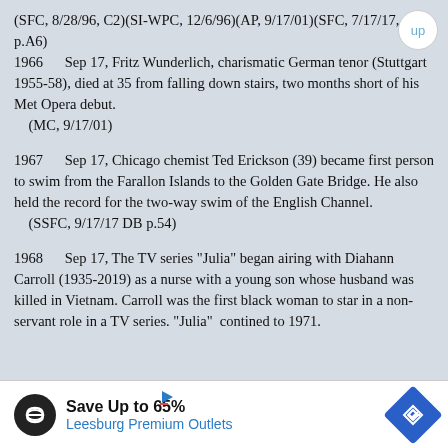(SFC, 8/28/96, C2)(SI-WPC, 12/6/96)(AP, 9/17/01)(SFC, 7/17/17, p.A6)
1966 Sep 17, Fritz Wunderlich, charismatic German tenor (Stuttgart 1955-58), died at 35 from falling down stairs, two months short of his Met Opera debut.
(MC, 9/17/01)
1967 Sep 17, Chicago chemist Ted Erickson (39) became first person to swim from the Farallon Islands to the Golden Gate Bridge. He also held the record for the two-way swim of the English Channel.
(SSFC, 9/17/17 DB p.54)
1968 Sep 17, The TV series "Julia" began airing with Diahann Carroll (1935-2019) as a nurse with a young son whose husband was killed in Vietnam. Carroll was the first black woman to star in a non-servant role in a TV series. "Julia"  contined to 1971.
[Figure (infographic): Advertisement banner: Save Up to 65% Leesburg Premium Outlets with infinity logo and navigation arrow icon]